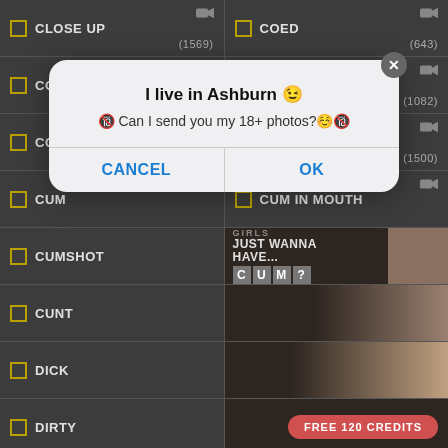| CLOSE UP | (1569) | COED | (643) |
| COLLEGE | (1265) | COUPLE | (1082) |
| COWGIRL | (2165) | CREAMPIE | (1500) |
| CUM |  | CUM IN MOUTH |  |
| CUMSHOT |  | GIRLS JUST WANNA HAVE... CUM? |  |
| CUNT |  |  |  |
| DICK |  |  |  |
| DIRTY |  | FREE 120 CREDITS |  |
[Figure (screenshot): Mobile browser dialog overlay on adult content website showing category filter list with checkboxes. Dialog reads: 'I live in Ashburn' with emoji, 'Can I send you my 18+ photos?' with CANCEL and OK buttons. Background shows adult content categories and advertisement banner.]